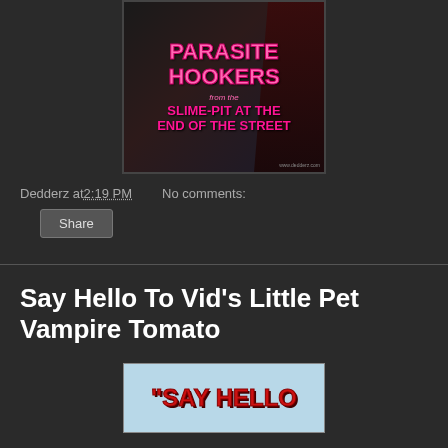[Figure (photo): Movie poster for 'Parasite Hookers from the Slime-Pit at the End of the Street' showing stylized text in pink/magenta on dark background with a female figure silhouette. URL www.dedderz.com visible.]
Dedderz at 2:19 PM   No comments:
Share
Say Hello To Vid's Little Pet Vampire Tomato
[Figure (photo): Partial view of another movie or media image showing the text 'SAY HELLO' in red bold letters on a light blue background.]